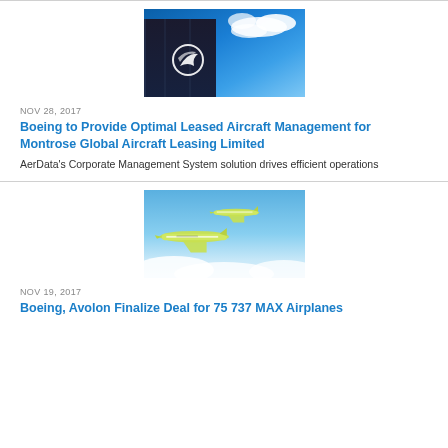[Figure (photo): Boeing logo sign against blue sky with clouds]
NOV 28, 2017
Boeing to Provide Optimal Leased Aircraft Management for Montrose Global Aircraft Leasing Limited
AerData's Corporate Management System solution drives efficient operations
[Figure (photo): Two green and white commercial airplanes flying above clouds against blue sky]
NOV 19, 2017
Boeing, Avolon Finalize Deal for 75 737 MAX Airplanes